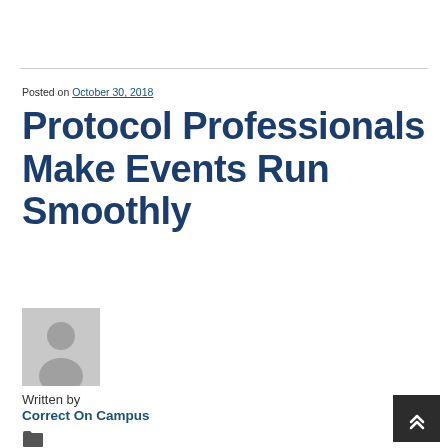Posted on October 30, 2018
Protocol Professionals Make Events Run Smoothly
[Figure (photo): Generic avatar placeholder image — grey silhouette of a person on light grey background]
Written by
Correct On Campus